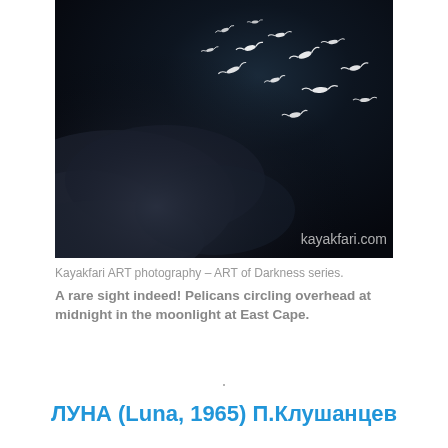[Figure (photo): Dark nighttime photograph of pelicans circling overhead with moonlit clouds in the background. White birds visible against a very dark blue-black sky. Watermark text 'kayakfari.com' visible in bottom right corner of the image.]
Kayakfari ART photography – ART of Darkness series. A rare sight indeed! Pelicans circling overhead at midnight in the moonlight at East Cape.
.
ЛУНА (Luna, 1965) П.Клушанцев